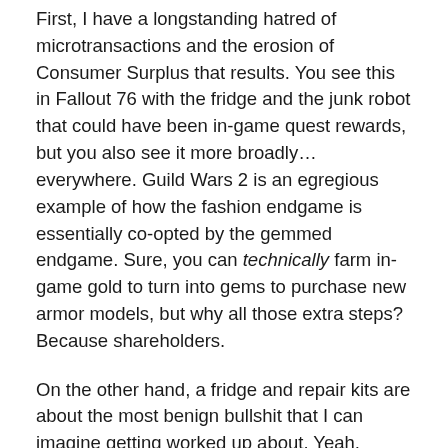First, I have a longstanding hatred of microtransactions and the erosion of Consumer Surplus that results. You see this in Fallout 76 with the fridge and the junk robot that could have been in-game quest rewards, but you also see it more broadly… everywhere. Guild Wars 2 is an egregious example of how the fashion endgame is essentially co-opted by the gemmed endgame. Sure, you can technically farm in-game gold to turn into gems to purchase new armor models, but why all those extra steps? Because shareholders.
On the other hand, a fridge and repair kits are about the most benign bullshit that I can imagine getting worked up about. Yeah, something something boiled frog, but Bethesda has been exceptionally communicative regarding fan feedback to changes. It doesn't stop them